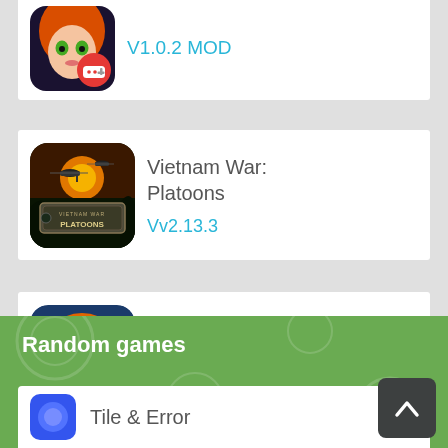[Figure (screenshot): Partial app icon for an unknown game showing anime-style female character with red hair and a game controller overlay badge]
V1.0.2 MOD
[Figure (screenshot): App icon for Vietnam War: Platoons showing helicopters and a jungle scene with the game title on a metal plate]
Vietnam War: Platoons
Vv2.13.3
[Figure (screenshot): App icon for Unepic Heroes: Battle for the showing a fearsome orange lizard/dinosaur monster face with sharp teeth]
Unepic Heroes: Battle for the
V200 MOD
Random games
[Figure (screenshot): Partial app icon for Tile & Error showing a blue circular icon]
Tile & Error